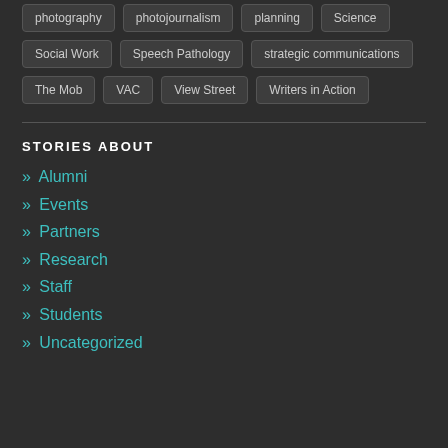photography
photojournalism
planning
Science
Social Work
Speech Pathology
strategic communications
The Mob
VAC
View Street
Writers in Action
STORIES ABOUT
» Alumni
» Events
» Partners
» Research
» Staff
» Students
» Uncategorized